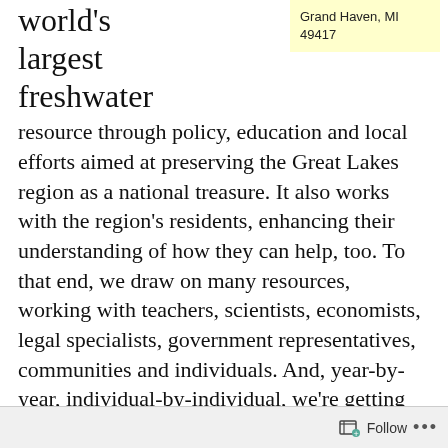world's largest freshwater
Grand Haven, MI 49417
resource through policy, education and local efforts aimed at preserving the Great Lakes region as a national treasure. It also works with the region's residents, enhancing their understanding of how they can help, too. To that end, we draw on many resources, working with teachers, scientists, economists, legal specialists, government representatives, communities and individuals. And, year-by-year, individual-by-individual, we're getting back a healthy Great Lakes environment, thanks to supporters like you.
Follow